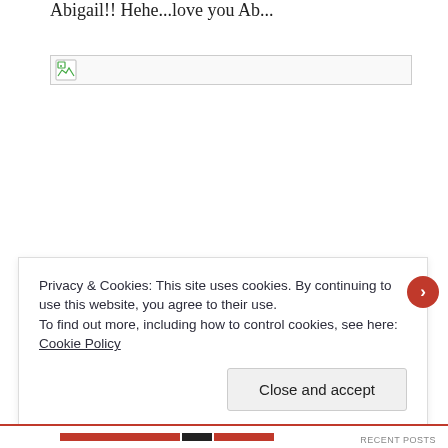Abigail!! Hehe...love you Ab...
[Figure (other): Broken image placeholder with small icon, shown as a bordered box with a broken image icon on the left side]
Privacy & Cookies: This site uses cookies. By continuing to use this website, you agree to their use.
To find out more, including how to control cookies, see here: Cookie Policy
Close and accept